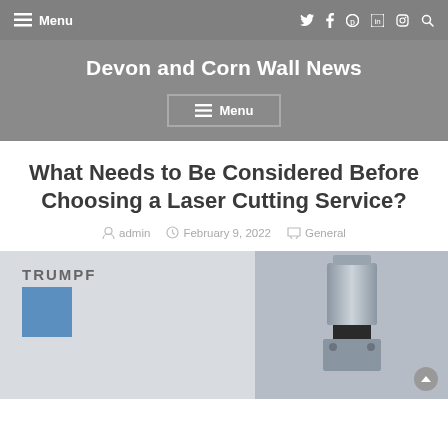Menu  (social icons: twitter, facebook, pinterest, linkedin, instagram, search)
Devon and Corn Wall News
Menu
What Needs to Be Considered Before Choosing a Laser Cutting Service?
admin  February 9, 2022  General
[Figure (photo): TRUMPF laser cutting machine with cylindrical laser head on the right and branded white panel with blue square logo on the left]